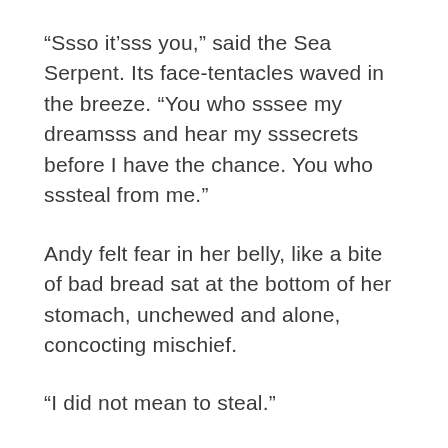“Ssso it’sss you,” said the Sea Serpent. Its face-tentacles waved in the breeze. “You who sssee my dreamsss and hear my sssecrets before I have the chance. You who sssteal from me.”
Andy felt fear in her belly, like a bite of bad bread sat at the bottom of her stomach, unchewed and alone, concocting mischief.
“I did not mean to steal.”
“And yet you did. Ssso you will have to pay. What have you to give, little child?”
Andy did not know. All her worldly